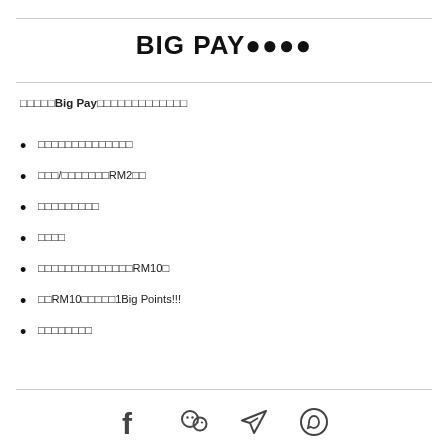BIG PAY🔴🔴🔴🔴
🔴🔴🔴🔴🔴Big Pay🔴🔴🔴🔴🔴🔴🔴🔴🔴🔴🔴🔴
🔴🔴🔴🔴🔴🔴🔴🔴🔴🔴🔴🔴🔴🔴
🔴🔴🔴/🔴🔴🔴🔴🔴🔴🔴RM2🔴🔴
🔴🔴🔴🔴🔴🔴🔴🔴🔴
🔴🔴🔴🔴
🔴🔴🔴🔴🔴🔴🔴🔴🔴🔴🔴🔴🔴🔴🔴RM10🔴
🔴🔴RM10🔴🔴🔴🔴🔴1Big Points!!!
🔴🔴🔴🔴🔴🔴🔴🔴
[Social icons: Facebook, WeChat, Telegram, WhatsApp]